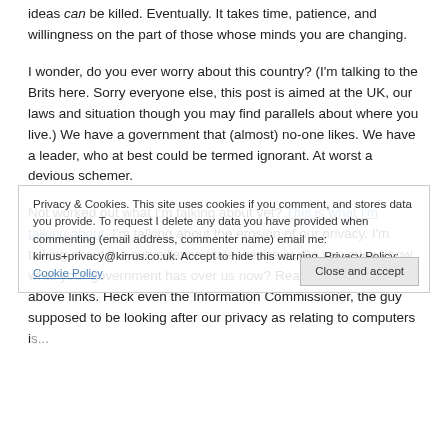ideas can be killed. Eventually. It takes time, patience, and willingness on the part of those whose minds you are changing.
I wonder, do you ever worry about this country? (I'm talking to the Brits here. Sorry everyone else, this post is aimed at the UK, our laws and situation though you may find parallels about where you live.) We have a government that (almost) no-one likes. We have a leader, who at best could be termed ignorant. At worst a devious schemer.
Not worked out what I'm talking about yet? This is what I'm talking about. I'm talking about the erosion of our privacy. I'm talking about the surveillance state we are in. Do you even know what your government has over us now? Read some of the above links. Heck even the Information Commissioner, the guy supposed to be looking after our privacy as relating to computers is...
Privacy & Cookies. This site uses cookies if you comment, and stores data you provide. To request I delete any data you have provided when commenting (email address, commenter name) email me: kirrus+privacy@kirrus.co.uk. Accept to hide this warning. Privacy Policy: Cookie Policy